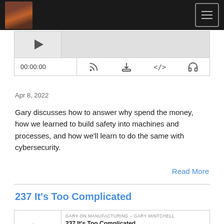[Figure (screenshot): Navigation header bar with avatar photo and hamburger menu button]
[Figure (screenshot): Podcast audio player widget showing 00:00:00 timestamp with RSS, download, embed, and headphone icons]
Apr 8, 2022
Gary discusses how to answer why spend the money, how we learned to build safety into machines and processes, and how we'll learn to do the same with cybersecurity.
Read More
237 It's Too Complicated
[Figure (screenshot): Podcast player for episode 237 It's Too Complicated by GARY ON MANUFACTURING - GARY MINTCHELL showing play button and progress bar]
Mar 13, 2022